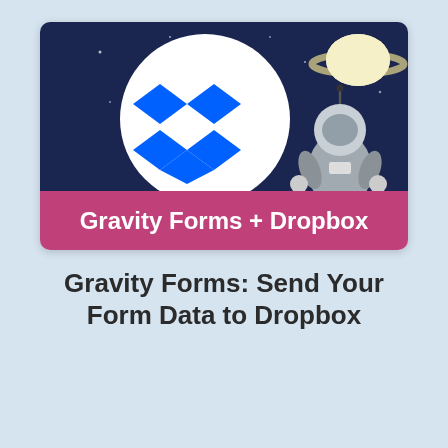[Figure (illustration): Promotional image with dark navy space background. A large white circle contains the blue Dropbox logo (open box made of diamond shapes). Top right shows a cartoon Saturn-like planet and an astronaut figure in a grey spacesuit. A pink/magenta banner at the bottom reads 'Gravity Forms + Dropbox' in white bold text.]
Gravity Forms: Send Your Form Data to Dropbox